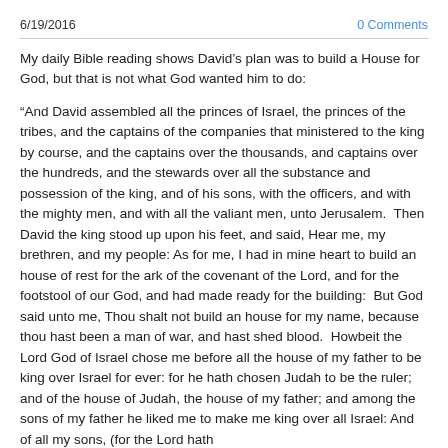6/19/2016   0 Comments
My daily Bible reading shows David’s plan was to build a House for God, but that is not what God wanted him to do:
“And David assembled all the princes of Israel, the princes of the tribes, and the captains of the companies that ministered to the king by course, and the captains over the thousands, and captains over the hundreds, and the stewards over all the substance and possession of the king, and of his sons, with the officers, and with the mighty men, and with all the valiant men, unto Jerusalem.  Then David the king stood up upon his feet, and said, Hear me, my brethren, and my people: As for me, I had in mine heart to build an house of rest for the ark of the covenant of the Lord, and for the footstool of our God, and had made ready for the building:  But God said unto me, Thou shalt not build an house for my name, because thou hast been a man of war, and hast shed blood.  Howbeit the Lord God of Israel chose me before all the house of my father to be king over Israel for ever: for he hath chosen Judah to be the ruler; and of the house of Judah, the house of my father; and among the sons of my father he liked me to make me king over all Israel: And of all my sons, (for the Lord hath